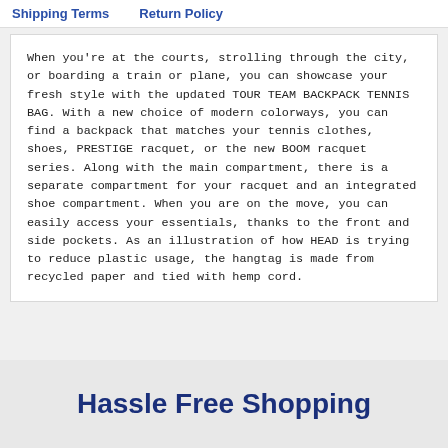Shipping Terms
Return Policy
When you're at the courts, strolling through the city, or boarding a train or plane, you can showcase your fresh style with the updated TOUR TEAM BACKPACK TENNIS BAG. With a new choice of modern colorways, you can find a backpack that matches your tennis clothes, shoes, PRESTIGE racquet, or the new BOOM racquet series. Along with the main compartment, there is a separate compartment for your racquet and an integrated shoe compartment. When you are on the move, you can easily access your essentials, thanks to the front and side pockets. As an illustration of how HEAD is trying to reduce plastic usage, the hangtag is made from recycled paper and tied with hemp cord.
Hassle Free Shopping